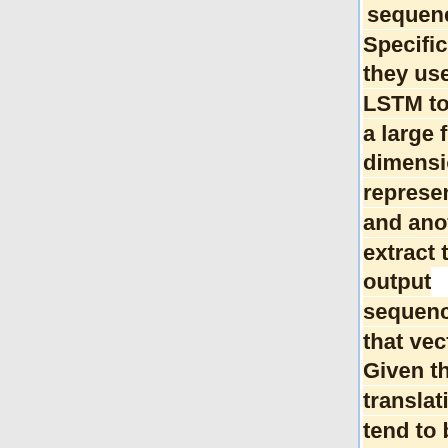sequences. Specifically, they used one LSTM to obtain a large fixed-dimensional representation and another to extract the output sequence from that vector. Given that translations tend to be paraphrases of the source sentences, the translation objective encourages the LSTM to find sentence